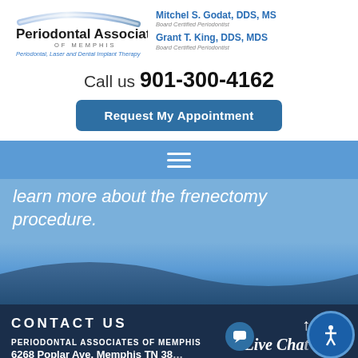[Figure (logo): Periodontal Associates of Memphis logo with arc graphic]
Mitchel S. Godat, DDS, MS
Board Certified Periodontist
Grant T. King, DDS, MDS
Board Certified Periodontist
Call us 901-300-4162
Request My Appointment
learn more about the frenectomy procedure.
CONTACT US
PERIODONTAL ASSOCIATES OF MEMPHIS
6268 Poplar Ave. Memphis TN 38...